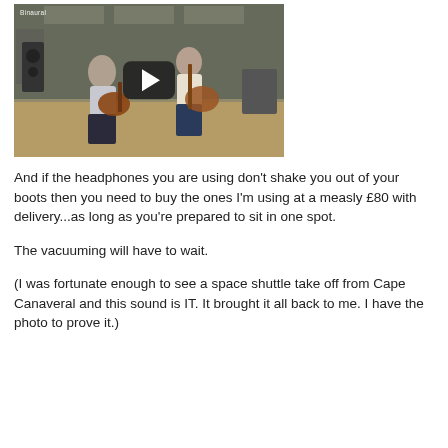[Figure (screenshot): YouTube video thumbnail showing two men playing acoustic guitars in a studio setting. A large play button is visible in the center. The label 'Binaural' appears in the top-left corner.]
And if the headphones you are using don't shake you out of your boots then you need to buy the ones I'm using at a measly £80 with delivery...as long as you're prepared to sit in one spot.
The vacuuming will have to wait.
(I was fortunate enough to see a space shuttle take off from Cape Canaveral and this sound is IT. It brought it all back to me. I have the photo to prove it.)